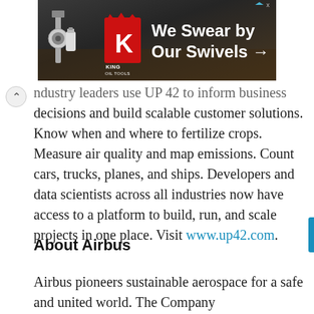[Figure (illustration): King Oil Tools advertisement banner: dark brown/black background with oil tool image on left, red stylized K logo with crown and 'KING OIL TOOLS' text, and white text reading 'We Swear by Our Swivels →' on right. Ad label with triangle icon and X in top right corner.]
industry leaders use UP 42 to inform business decisions and build scalable customer solutions. Know when and where to fertilize crops. Measure air quality and map emissions. Count cars, trucks, planes, and ships. Developers and data scientists across all industries now have access to a platform to build, run, and scale projects in one place. Visit www.up42.com.
About Airbus
Airbus pioneers sustainable aerospace for a safe and united world. The Company